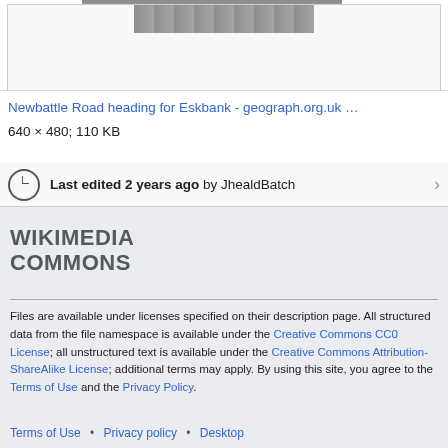[Figure (photo): Partial view of a road photo thumbnail at top of page]
Newbattle Road heading for Eskbank - geograph.org.uk …
640 × 480; 110 KB
Last edited 2 years ago by JhealdBatch
WIKIMEDIA COMMONS
Files are available under licenses specified on their description page. All structured data from the file namespace is available under the Creative Commons CC0 License; all unstructured text is available under the Creative Commons Attribution-ShareAlike License; additional terms may apply. By using this site, you agree to the Terms of Use and the Privacy Policy.
Terms of Use • Privacy policy • Desktop